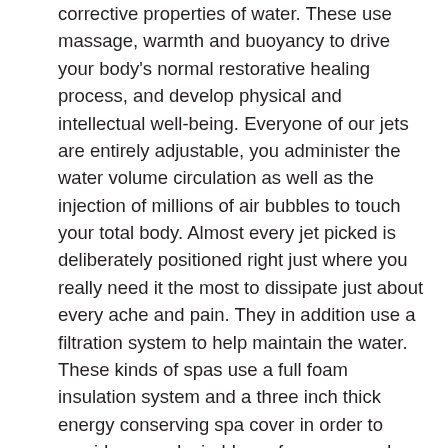corrective properties of water. These use massage, warmth and buoyancy to drive your body's normal restorative healing process, and develop physical and intellectual well-being. Everyone of our jets are entirely adjustable, you administer the water volume circulation as well as the injection of millions of air bubbles to touch your total body. Almost every jet picked is deliberately positioned right just where you really need it the most to dissipate just about every ache and pain. They in addition use a filtration system to help maintain the water. These kinds of spas use a full foam insulation system and a three inch thick energy conserving spa cover in order to provide more desirable performance and require reduced energy. Every one of these spas are sophisticated and present day, with curved angles for the most comfortable experience. As an alternative to the basic perpendicular back, these put forward lounge seating and added in room in the foot well for maximum pleasure. Having unequaled endurance, these kinds of spas are fabricated to last, developed to be energy efficient and eco-friendly. Hot tubs